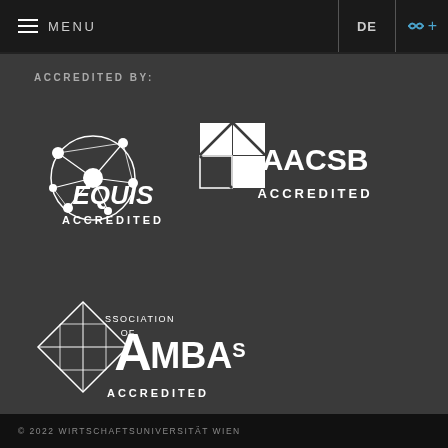MENU | DE | + link icon
ACCREDITED BY:
[Figure (logo): EQUIS ACCREDITED logo — globe/network icon with EQUIS ACCREDITED text in white]
[Figure (logo): AACSB ACCREDITED logo — diamond grid icon with AACSB ACCREDITED text in white]
[Figure (logo): Association of MBAs ACCREDITED logo — diamond shape icon with ASSOCIATION OF MBAS ACCREDITED text in white]
© 2022 WIRTSCHAFTSUNIVERSITÄT WIEN